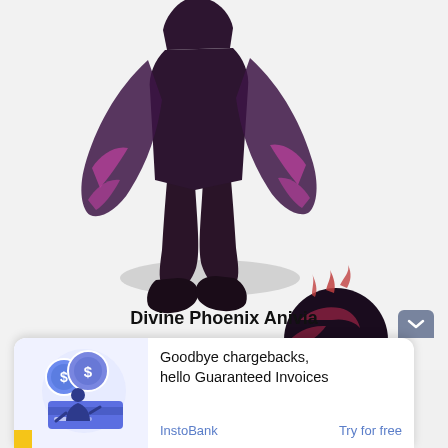[Figure (illustration): Game character Divine Phoenix Anivia — a dark purple armored bird-like figure with pink/magenta wing accents, shown from waist down with legs and shadow on a light grey background. A dark spherical item with pink flame markings sits to the lower right.]
Divine Phoenix Anivia
[Figure (infographic): Advertisement banner: InstoBank ad showing illustrated coins with dollar signs and a person holding a credit card. Text reads 'Goodbye chargebacks, hello Guaranteed Invoices'. Brand label: InstoBank. CTA: Try for free.]